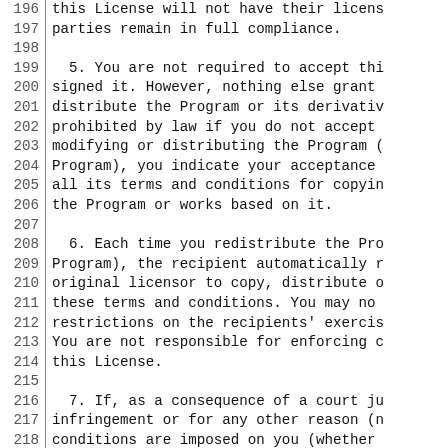196  this License will not have their licens
197  parties remain in full compliance.
198
199    5. You are not required to accept thi
200  signed it.  However, nothing else grant
201  distribute the Program or its derivativ
202  prohibited by law if you do not accept
203  modifying or distributing the Program (
204  Program), you indicate your acceptance
205  all its terms and conditions for copyin
206  the Program or works based on it.
207
208    6. Each time you redistribute the Pro
209  Program), the recipient automatically r
210  original licensor to copy, distribute o
211  these terms and conditions.  You may no
212  restrictions on the recipients' exercis
213  You are not responsible for enforcing c
214  this License.
215
216    7. If, as a consequence of a court ju
217  infringement or for any other reason (n
218  conditions are imposed on you (whether
219  otherwise) that contradict the conditio
220  excuse you from the conditions of this
221  distribute so as to satisfy simultaneou
222  License and any other pertinent obligat
223  may not distribute the Program at all.
224  license would not permit royalty-free r
225  all those who receive copies directly (